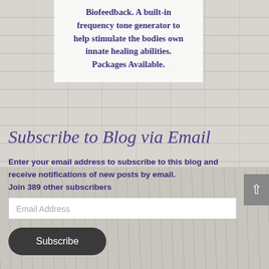Biofeedback. A built-in frequency tone generator to help stimulate the bodies own innate healing abilities. Packages Available.
Subscribe to Blog via Email
Enter your email address to subscribe to this blog and receive notifications of new posts by email. Join 389 other subscribers